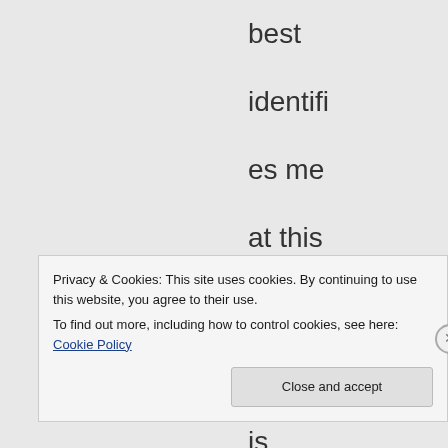best identifies me at this stage in life is, “What?”
★ Like
Privacy & Cookies: This site uses cookies. By continuing to use this website, you agree to their use.
To find out more, including how to control cookies, see here: Cookie Policy
Close and accept